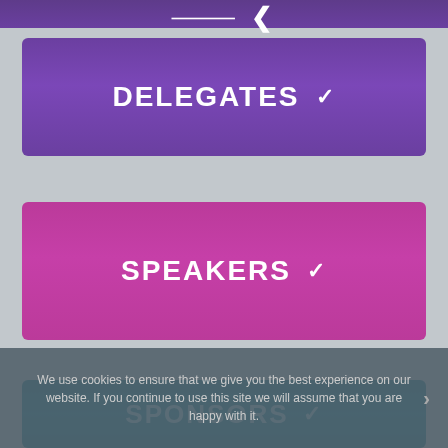[Figure (screenshot): Partial top navigation button with purple gradient background, partially cropped at top]
DELEGATES
SPEAKERS
We use cookies to ensure that we give you the best experience on our website. If you continue to use this site we will assume that you are happy with it.
SPONSORS